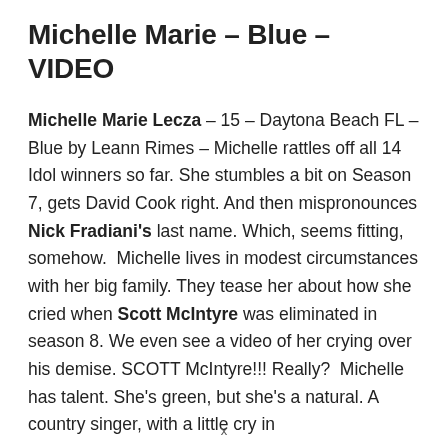Michelle Marie – Blue – VIDEO
Michelle Marie Lecza – 15 – Daytona Beach FL – Blue by Leann Rimes – Michelle rattles off all 14 Idol winners so far. She stumbles a bit on Season 7, gets David Cook right. And then mispronounces Nick Fradiani's last name. Which, seems fitting, somehow.  Michelle lives in modest circumstances with her big family. They tease her about how she cried when Scott McIntyre was eliminated in season 8. We even see a video of her crying over his demise. SCOTT McIntyre!!! Really?  Michelle has talent. She's green, but she's a natural. A country singer, with a little cry in
x